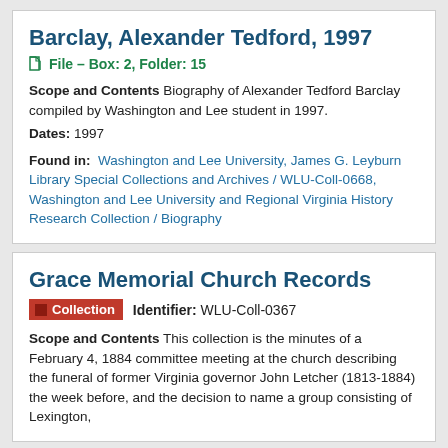Barclay, Alexander Tedford, 1997
File – Box: 2, Folder: 15
Scope and Contents Biography of Alexander Tedford Barclay compiled by Washington and Lee student in 1997.
Dates: 1997
Found in: Washington and Lee University, James G. Leyburn Library Special Collections and Archives / WLU-Coll-0668, Washington and Lee University and Regional Virginia History Research Collection / Biography
Grace Memorial Church Records
Collection   Identifier: WLU-Coll-0367
Scope and Contents This collection is the minutes of a February 4, 1884 committee meeting at the church describing the funeral of former Virginia governor John Letcher (1813-1884) the week before, and the decision to name a group consisting of Lexington,